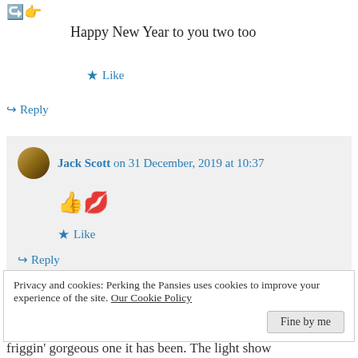[Figure (illustration): Small decorative emoji icons (arrows/pointing) in orange/brown at top left]
Happy New Year to you two too
★ Like
↪ Reply
Jack Scott on 31 December, 2019 at 10:37
[Figure (illustration): Thumbs up emoji and lips/kiss emoji]
★ Like
↪ Reply
Privacy and cookies: Perking the Pansies uses cookies to improve your experience of the site. Our Cookie Policy
Fine by me
friggin' gorgeous one it has been. The light show